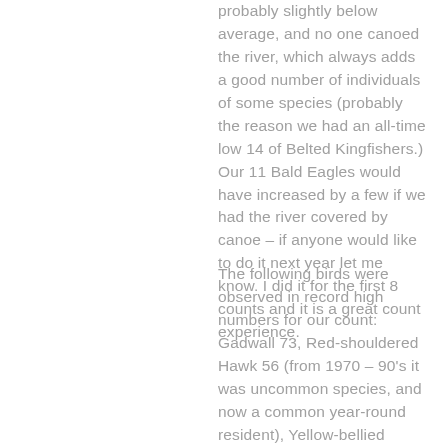probably slightly below average, and no one canoed the river, which always adds a good number of individuals of some species (probably the reason we had an all-time low 14 of Belted Kingfishers.) Our 11 Bald Eagles would have increased by a few if we had the river covered by canoe – if anyone would like to do it next year let me know. I did it for the first 8 counts and it is a great count experience.
The following birds were observed in record high numbers for our count: Gadwall 73, Red-shouldered Hawk 56 (from 1970 – 90's it was uncommon species, and now a common year-round resident), Yellow-bellied Sapsucker 86, Common Raven 40